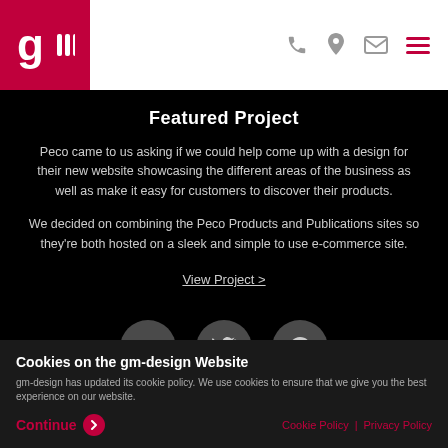gm-design logo and navigation icons (phone, location, email, menu)
Featured Project
Peco came to us asking if we could help come up with a design for their new website showcasing the different areas of the business as well as make it easy for customers to discover their products.
We decided on combining the Peco Products and Publications sites so they're both hosted on a sleek and simple to use e-commerce site.
View Project >
[Figure (illustration): Three circular social media icon buttons: Facebook (f), Twitter (bird), Pinterest (P) on dark background]
Cookies on the gm-design Website
gm-design has updated its cookie policy. We use cookies to ensure that we give you the best experience on our website.
Continue | Cookie Policy | Privacy Policy